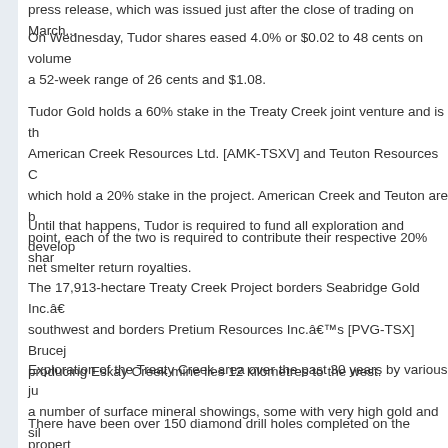press release, which was issued just after the close of trading on March...
On Wednesday, Tudor shares eased 4.0% or $0.02 to 48 cents on volume... a 52-week range of 26 cents and $1.08.
Tudor Gold holds a 60% stake in the Treaty Creek joint venture and is the operator. American Creek Resources Ltd. [AMK-TSXV] and Teuton Resources C... which hold a 20% stake in the project. American Creek and Teuton are b... point, each of the two is required to contribute their respective 20% shar...
Until that happens, Tudor is required to fund all exploration and develop... net smelter return royalties.
The 17,913-hectare Treaty Creek Project borders Seabridge Gold Inc.’... southwest and borders Pretium Resources Inc.’s [PVG-TSX] Brucej... producing Eskay Creek mine lies 12 kilometres to the west.
Exploration of the Treaty Creek area over the past 30 years by various ju... a number of surface mineral showings, some with very high gold and sil...
There have been over 150 diamond drill holes completed on the propert... zones. However, it is only recently that drilling revealed the potential fo... Copper Belle and Goldstorm zones, which are located on trend and just ...